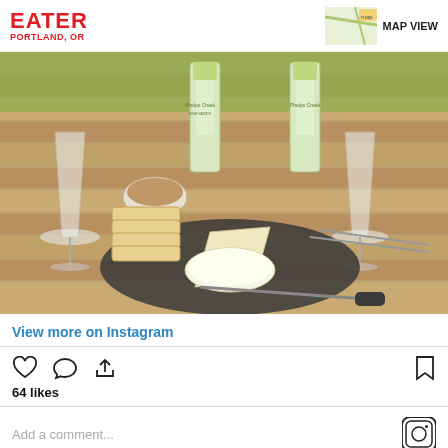EATER PORTLAND, OR
[Figure (photo): Cheese board with bread slices, brie, and other cheeses on a slate board, with wine glasses and Phelps Creek wine bottles on a wooden deck table outdoors]
View more on Instagram
64 likes
Add a comment...